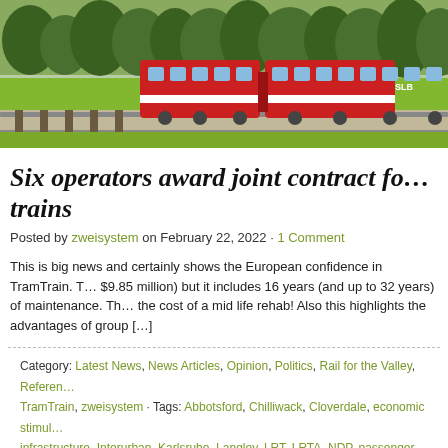[Figure (photo): A red and white tram-train traveling through a green grassy area with trees in the background. The train has 'SLB' visible on its side.]
Six operators award joint contract fo… trains
Posted by zweisystem on February 22, 2022 · 1 Comment
This is big news and certainly shows the European confidence in TramTrain. T… $9.85 million) but it includes 16 years (and up to 32 years) of maintenance. Th… the cost of a mid life rehab! Also this highlights the advantages of group […]
Category: Latest News, News Articles, Opinion, Politics, Rail for the Valley, Referen… TramTrain, zweisystem · Tags: Abbotsford, Chilliwack, Cloverdale, economic stimul… infrastructure, Interurban, Karlsruhe, Langley, LRT, LRTA, NDP, passenger rail, rail … track-sharing, tramtrain, transit, Translink, UBC, Vancouver, Vedder